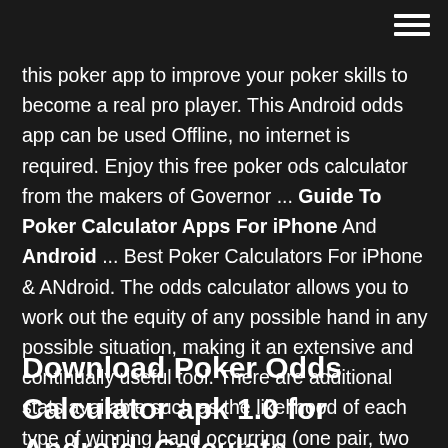this poker app to improve your poker skills to become a real pro player. This Android odds app can be used Offline, no internet is required. Enjoy this free poker ods calculator from the makers of Governor ... Guide To Poker Calculator Apps For iPhone And Android ... Best Poker Calculators For iPhone & ANdroid. The odds calculator allows you to work out the equity of any possible hand in any possible situation, making it an extensive and continually useful tool. There are additional stats available such as the likelihood of each type of winning hand occurring (one pair, two pair and so on),...
Download Poker Odds Calculator apk 1.0 for Android. Calculate